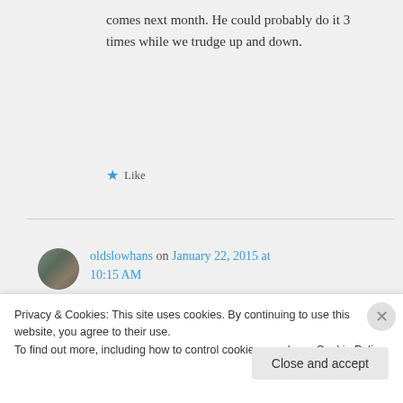comes next month. He could probably do it 3 times while we trudge up and down.
★ Like
oldslowhans on January 22, 2015 at 10:15 AM
One of our sons is also coming in early Feb.  I'm thinking Peralta
Privacy & Cookies: This site uses cookies. By continuing to use this website, you agree to their use.
To find out more, including how to control cookies, see here: Cookie Policy
Close and accept